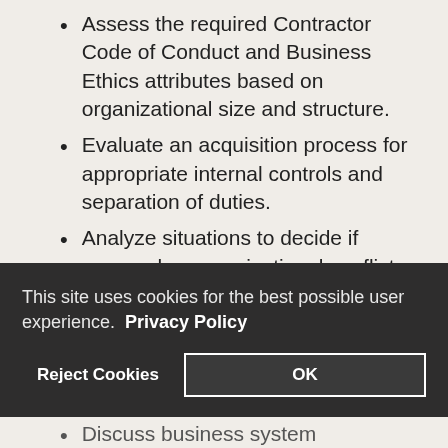Assess the required Contractor Code of Conduct and Business Ethics attributes based on organizational size and structure.
Evaluate an acquisition process for appropriate internal controls and separation of duties.
Analyze situations to decide if personal or organizational conflicts of interest exist.
This site uses cookies for the best possible user experience.  Privacy Policy
Reject Cookies   OK
Discuss business system